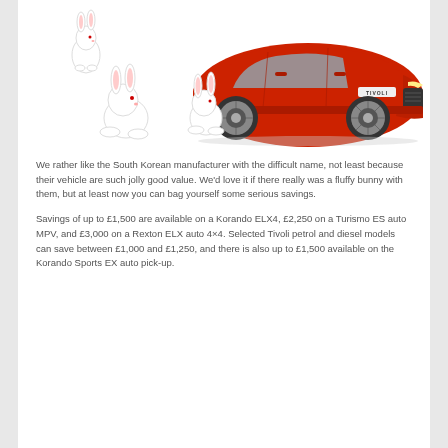[Figure (photo): A red SsangYong Tivoli SUV with three white fluffy rabbits posed around it against a white background. The car badge reads 'TIVOLI'. One rabbit is on the upper left, one is in the lower left, and one is in the lower center-left area near the wheel.]
We rather like the South Korean manufacturer with the difficult name, not least because their vehicle are such jolly good value. We'd love it if there really was a fluffy bunny with them, but at least now you can bag yourself some serious savings.
Savings of up to £1,500 are available on a Korando ELX4, £2,250 on a Turismo ES auto MPV, and £3,000 on a Rexton ELX auto 4×4. Selected Tivoli petrol and diesel models can save between £1,000 and £1,250, and there is also up to £1,500 available on the Korando Sports EX auto pick-up.